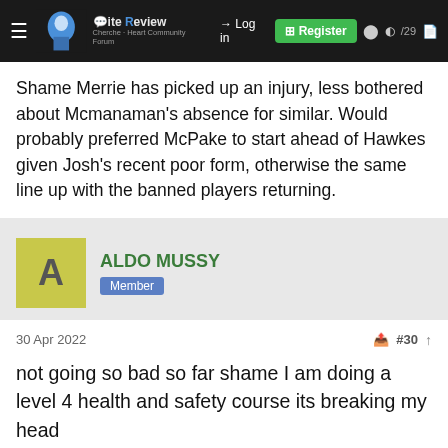Elite Review — Forum header with Log in and Register buttons
Shame Merrie has picked up an injury, less bothered about Mcmanaman's absence for similar. Would probably preferred McPake to start ahead of Hawkes given Josh's recent poor form, otherwise the same line up with the banned players returning.
ALDO MUSSY — Member
30 Apr 2022  #30
not going so bad so far shame I am doing a level 4 health and safety course its breaking my head
This site uses cookies to help personalise content, tailor your experience and to keep you logged in if you register.
By continuing to use this site, you are consenting to our use of cookies.
Accept   Learn more...